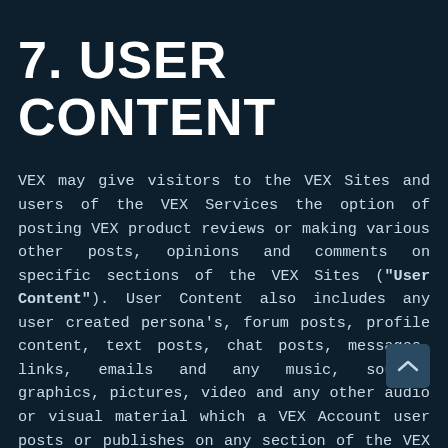7. USER CONTENT
VEX may give visitors to the VEX Sites and users of the VEX Services the option of posting VEX product reviews or making various other posts, opinions and comments on specific sections of the VEX Sites ("User Content"). User Content also includes any user created persona's, forum posts, profile content, text posts, chat posts, messages, links, emails and any music, sounds, graphics, pictures, video and any other audio or visual material which a VEX Account user posts or publishes on any section of the VEX Sites.
In order to publish or post User Content on or the VEX Sites, you may have to provide personal information